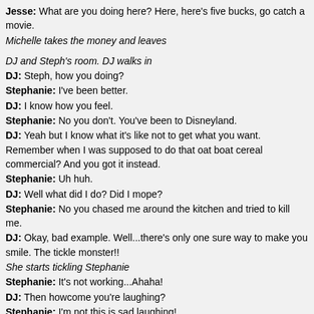Jesse: What are you doing here? Here, here's five bucks, go catch a movie.
Michelle takes the money and leaves
DJ and Steph's room. DJ walks in
DJ: Steph, how you doing?
Stephanie: I've been better.
DJ: I know how you feel.
Stephanie: No you don't. You've been to Disneyland.
DJ: Yeah but I know what it's like not to get what you want. Remember when I was supposed to do that oat boat cereal commercial? And you got it instead.
Stephanie: Uh huh.
DJ: Well what did I do? Did I mope?
Stephanie: No you chased me around the kitchen and tried to kill me.
DJ: Okay, bad example. Well...there's only one sure way to make you smile. The tickle monster!!
She starts tickling Stephanie
Stephanie: It's not working...Ahaha!
DJ: Then howcome you're laughing?
Stephanie: I'm not this is sad laughing!
Danny walks in
Danny: Steph, I'm so glad to see you happy.
Stephanie: That didn't count, tickle monster made me laugh.
Danny: Stephanie, you have every reason to be sad, and I completely